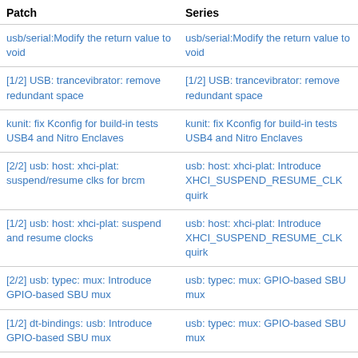| Patch | Series |
| --- | --- |
| usb/serial:Modify the return value to void | usb/serial:Modify the return value to void |
| [1/2] USB: trancevibrator: remove redundant space | [1/2] USB: trancevibrator: remove redundant space |
| kunit: fix Kconfig for build-in tests USB4 and Nitro Enclaves | kunit: fix Kconfig for build-in tests USB4 and Nitro Enclaves |
| [2/2] usb: host: xhci-plat: suspend/resume clks for brcm | usb: host: xhci-plat: Introduce XHCI_SUSPEND_RESUME_CLK quirk |
| [1/2] usb: host: xhci-plat: suspend and resume clocks | usb: host: xhci-plat: Introduce XHCI_SUSPEND_RESUME_CLK quirk |
| [2/2] usb: typec: mux: Introduce GPIO-based SBU mux | usb: typec: mux: GPIO-based SBU mux |
| [1/2] dt-bindings: usb: Introduce GPIO-based SBU mux | usb: typec: mux: GPIO-based SBU mux |
| [v1,5/5,RFT] ACPI: Drop parent field from struct acpi_device | Untitled series #183446 |